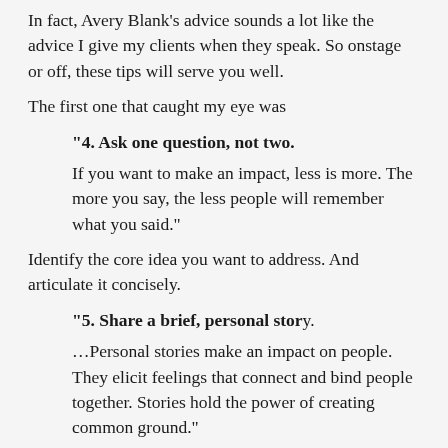In fact, Avery Blank's advice sounds a lot like the advice I give my clients when they speak. So onstage or off, these tips will serve you well.
The first one that caught my eye was
“4. Ask one question, not two.
If you want to make an impact, less is more. The more you say, the less people will remember what you said.”
Identify the core idea you want to address. And articulate it concisely.
“5. Share a brief, personal story.
…Personal stories make an impact on people. They elicit feelings that connect and bind people together. Stories hold the power of creating common ground.”